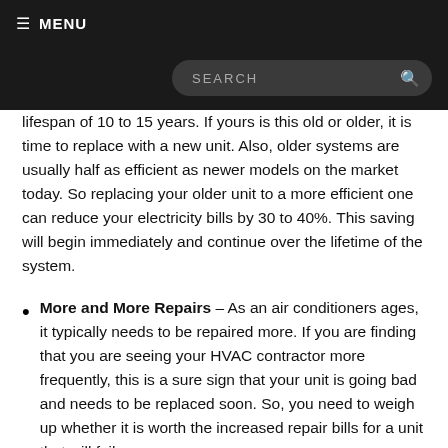≡ MENU | SEARCH
lifespan of 10 to 15 years. If yours is this old or older, it is time to replace with a new unit. Also, older systems are usually half as efficient as newer models on the market today. So replacing your older unit to a more efficient one can reduce your electricity bills by 30 to 40%. This saving will begin immediately and continue over the lifetime of the system.
More and More Repairs – As an air conditioners ages, it typically needs to be repaired more. If you are finding that you are seeing your HVAC contractor more frequently, this is a sure sign that your unit is going bad and needs to be replaced soon. So, you need to weigh up whether it is worth the increased repair bills for a unit that will fail soon.
Air is Not Cool and Home Has Too Much Humidity – The amount of cool air coming from your air conditioner should be on-demand and consistent. If at some point, you discover that even at full blast, the air coming from your vents just isn't as cold